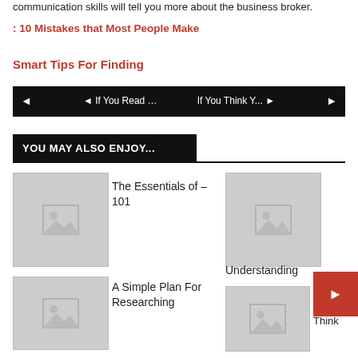communication skills will tell you more about the business broker.
: 10 Mistakes that Most People Make
Smart Tips For Finding
◄ If You Read …   If You Think Y... ►
YOU MAY ALSO ENJOY...
The Essentials of – 101
[Figure (photo): Placeholder image thumbnail 1]
[Figure (photo): Placeholder image thumbnail 2]
A Simple Plan For Researching
[Figure (photo): Placeholder image thumbnail 3]
Understanding
[Figure (photo): Placeholder image thumbnail 4]
Why Aren't As Bad As You Think